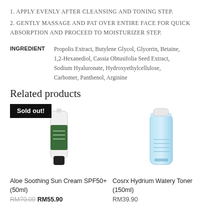1. APPLY EVENLY AFTER CLEANSING AND TONING STEP.
2. GENTLY MASSAGE AND PAT OVER ENTIRE FACE FOR QUICK ABSORPTION AND PROCEED TO MOISTURIZER STEP.
| INGREDIENT | Details |
| --- | --- |
| INGREDIENT | Propolis Extract, Butylene Glycol, Glycerin, Betaine, 1,2-Hexanediol, Cassia Obtusifolia Seed Extract, Sodium Hyaluronate, Hydroxyethylcellulose, Carbomer, Panthenol, Arginine |
Related products
[Figure (photo): Aloe Soothing Sun Cream SPF50+ 50ml product tube with green label, Sold out badge]
Aloe Soothing Sun Cream SPF50+(50ml)
RM70.00 RM55.90
[Figure (photo): Cosrx Hydrium Watery Toner 150ml blue bottle product]
Cosrx Hydrium Watery Toner (150ml)
RM39.90